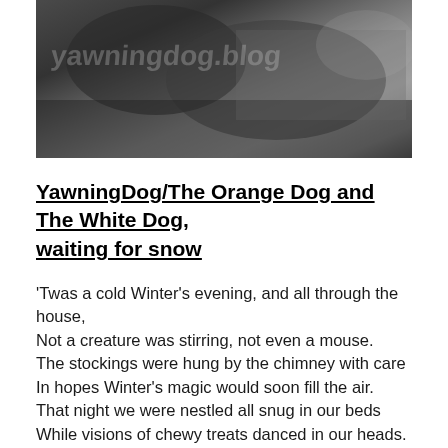[Figure (photo): Black and white photograph of dogs resting on or near a person, appears to be a cozy indoor setting]
YawningDog/The Orange Dog and The White Dog, waiting for snow
'Twas a cold Winter's evening, and all through the house,
Not a creature was stirring, not even a mouse.
The stockings were hung by the chimney with care
In hopes Winter's magic would soon fill the air.
That night we were nestled all snug in our beds
While visions of chewy treats danced in our heads.

But soon we crept into our parents' warm laps;
They'd just settled in for their long Winter's naps —